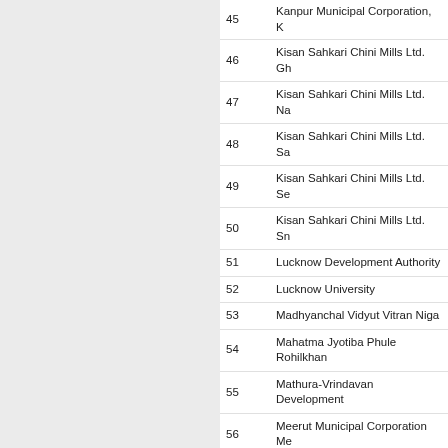| No. | Name |
| --- | --- |
| 45 | Kanpur Municipal Corporation, K... |
| 46 | Kisan Sahkari Chini Mills Ltd. Gh... |
| 47 | Kisan Sahkari Chini Mills Ltd. Na... |
| 48 | Kisan Sahkari Chini Mills Ltd. Sa... |
| 49 | Kisan Sahkari Chini Mills Ltd. Se... |
| 50 | Kisan Sahkari Chini Mills Ltd. Sn... |
| 51 | Lucknow Development Authority |
| 52 | Lucknow University |
| 53 | Madhyanchal Vidyut Vitran Niga... |
| 54 | Mahatma Jyotiba Phule Rohilkha... |
| 55 | Mathura-Vrindavan Development... |
| 56 | Meerut Municipal Corporation Me... |
| 57 | Moradabad Development Authorit... |
| 58 | National Health Mission UP |
| 59 | New Okla Industrial Development... |
| 60 | Noida Metro Rail Corporation Ltd... |
| 61 | O/o Principal Chief Conservator a... |
| 62 | Panchayati Raj Department |
| 63 | Paschimanchal Vidyut Vitran Niga... |
| 64 | PCDF |
| 65 | Purvanchal Vidyut Vitran Nigam L... |
| 66 | PWD - Externally Aided Projects a... |
| 67 | Rajya Krishi Utpadan Mandi Paris... |